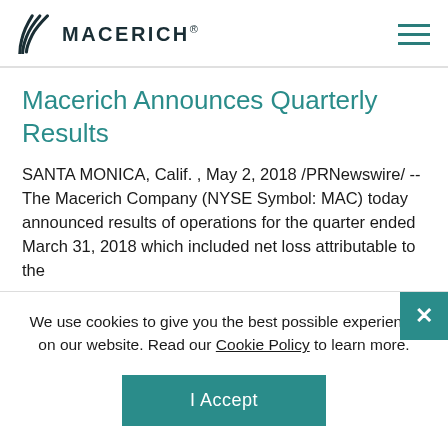MACERICH®
Macerich Announces Quarterly Results
SANTA MONICA, Calif. , May 2, 2018 /PRNewswire/ -- The Macerich Company (NYSE Symbol: MAC) today announced results of operations for the quarter ended March 31, 2018 which included net loss attributable to the
We use cookies to give you the best possible experience on our website. Read our Cookie Policy to learn more.
I Accept